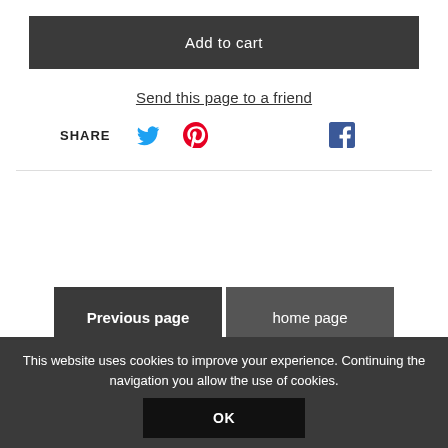Add to cart
Send this page to a friend
SHARE
Previous page
home page
This website uses cookies to improve your experience. Continuing the navigation you allow the use of cookies.
OK